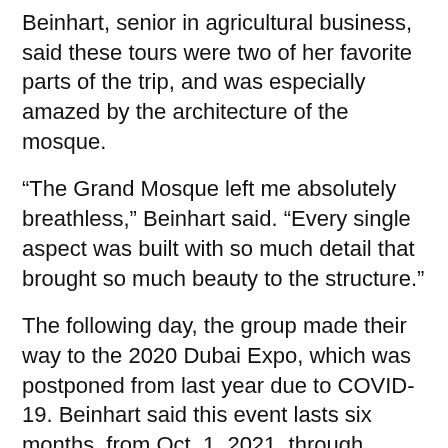Beinhart, senior in agricultural business, said these tours were two of her favorite parts of the trip, and was especially amazed by the architecture of the mosque.
“The Grand Mosque left me absolutely breathless,” Beinhart said. “Every single aspect was built with so much detail that brought so much beauty to the structure.”
The following day, the group made their way to the 2020 Dubai Expo, which was postponed from last year due to COVID-19. Beinhart said this event lasts six months, from Oct. 1, 2021, through March 31, 2022. A total of 192 countries take part in it to showcase their commitment to better mobility, more opportunities, and focus on sustainability for the future.
Next, students traveled to the Jebel Ali Zone Area to learn about international trade and its significance to Dubai’s economy, as well as Ferrari World, home of the world’s fastest roller coaster. They also attended a behind-tour of the